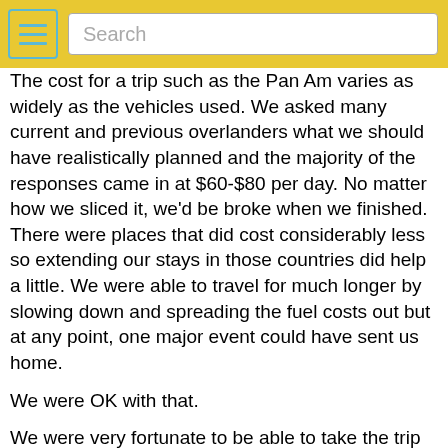Search
The cost for a trip such as the Pan Am varies as widely as the vehicles used. We asked many current and previous overlanders what we should have realistically planned and the majority of the responses came in at $60-$80 per day. No matter how we sliced it, we'd be broke when we finished. There were places that did cost considerably less so extending our stays in those countries did help a little. We were able to travel for much longer by slowing down and spreading the fuel costs out but at any point, one major event could have sent us home.
We were OK with that.
We were very fortunate to be able to take the trip we did. Throwing our chips in the wind was just that. We really didn't know how far or how long our journey would be. We only knew how much we had and when it would have been just enough to get home, hopefully before we had to beg for some help. Many overlanders we followed provided budget recaps on their websites for each country so we did the same. A pay it forward of sorts.
The Figures